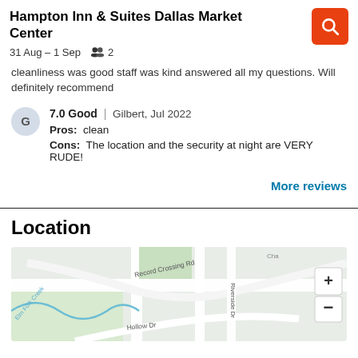Hampton Inn & Suites Dallas Market Center
31 Aug – 1 Sep   2
cleanliness was good staff was kind answered all my questions. Will definitely recommend
7.0 Good | Gilbert, Jul 2022
Pros: clean
Cons: The location and the security at night are VERY RUDE!
More reviews
Location
[Figure (map): Street map showing Record Crossing Rd, Riverside Dr, Hollow Dr, and Elm Fork Creek near the hotel location, with zoom controls]